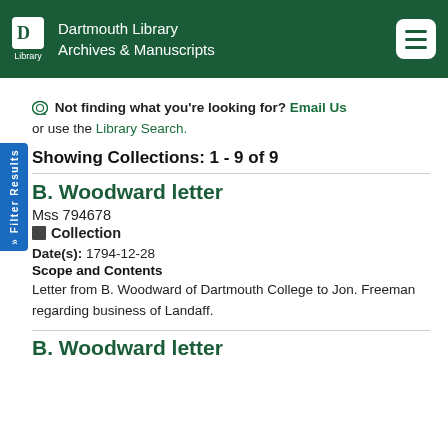Dartmouth Library Archives & Manuscripts
Not finding what you're looking for? Email Us or use the Library Search.
Showing Collections: 1 - 9 of 9
B. Woodward letter
Mss 794678
Collection
Date(s): 1794-12-28
Scope and Contents
Letter from B. Woodward of Dartmouth College to Jon. Freeman regarding business of Landaff.
B. Woodward letter